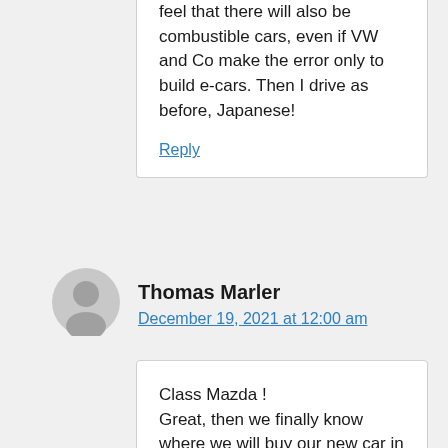feel that there will also be combustible cars, even if VW and Co make the error only to build e-cars. Then I drive as before, Japanese!
Reply
Thomas Marler
December 19, 2021 at 12:00 am
Class Mazda ! Great, then we finally know where we will buy our new car in the future ! In any case, an e-mobile does not come